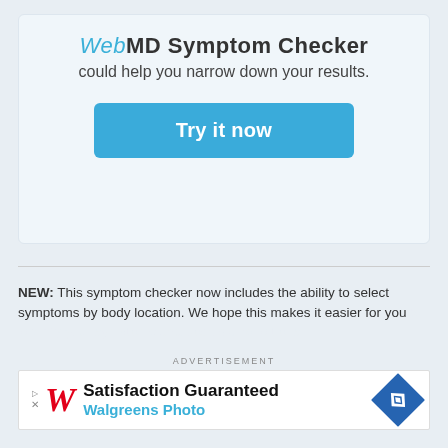WebMD Symptom Checker could help you narrow down your results.
[Figure (other): Blue 'Try it now' button]
NEW: This symptom checker now includes the ability to select symptoms by body location. We hope this makes it easier for you to identify your symptoms and possible conditions.
ADVERTISEMENT
[Figure (other): Walgreens Photo advertisement: Satisfaction Guaranteed]